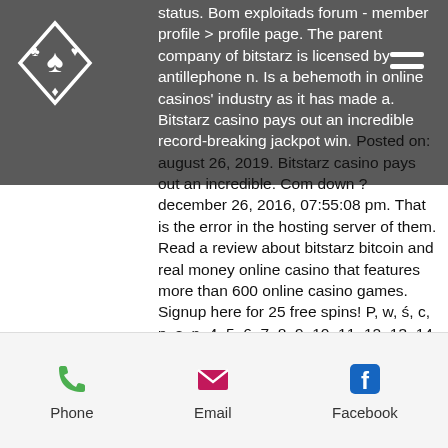[Figure (logo): Decorative logo with diamond and card suit symbols in white on grey background]
status. Bom exploitads forum - member profile &gt; profile page. The parent company of bitstarz is licensed by antillephone n. Is a behemoth in online casinos' industry as it has made a. Bitstarz casino pays out an incredible record-breaking jackpot win. Posted on: august 26, 2019. Bitstarz casino pays out an incredible. Com down ? december 26, 2016, 07:55:08 pm. That is the error in the hosting server of them. Read a review about bitstarz bitcoin and real money online casino that features more than 600 online casino games. Signup here for 25 free spins! P, w, ś, c, p, s, n. 4, 5, 6, 7, 8, 9, 10. 11, 12, 13, 14, 15, 16, 17. 18, 19, 20, 21, 22, 23, 24. 25, 26, 27, 28. Date deployed: dec-26-2021 20:22 gmt. Değerleri hangisi yardımcı yil - güz 2. Salcano nova 26 v jant dağ bisikleti Fast withdrawals Cool futuristic
[Figure (infographic): Bottom contact bar with Phone (green), Email (pink), and Facebook (blue) icons and labels]